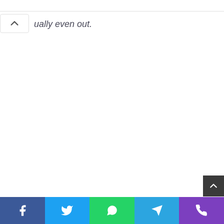[Figure (screenshot): Top navigation bar, partially visible, white background with blue elements]
[Figure (screenshot): Collapse/chevron up button widget, white box with up caret icon]
ually even out.
[Figure (screenshot): Dark scroll-to-top button with chevron up icon, bottom right]
Social share bar with Facebook, Twitter, WhatsApp, Telegram, Phone icons